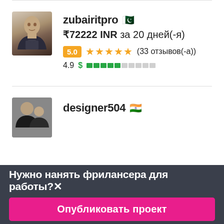[Figure (photo): Profile photo of user zubairitpro - man in suit]
zubairitpro 🇵🇰
₹72222 INR за 20 дней(-я)
5.0 ★★★★★ (33 отзывов(-а))
4.9 $ ████████░░░░
[Figure (photo): Profile photo of user designer504 - two people]
designer504 🇮🇳
Нужно нанять фрилансера для работы?✕
Опубликовать проект